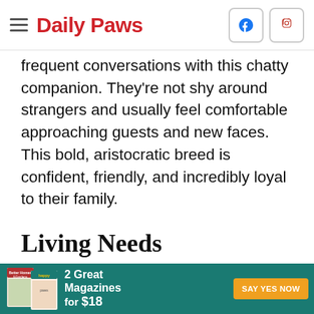Daily Paws
frequent conversations with this chatty companion. They're not shy around strangers and usually feel comfortable approaching guests and new faces. This bold, aristocratic breed is confident, friendly, and incredibly loyal to their family.
Living Needs
Human affection is very important to your little Khao Manee. Because she needs so much attention, it's important to never leave...
[Figure (infographic): Advertisement banner for Better Homes & Gardens and Happy Paws magazines. '2 Great Magazines for $18' with a 'SAY YES NOW' button on teal background.]